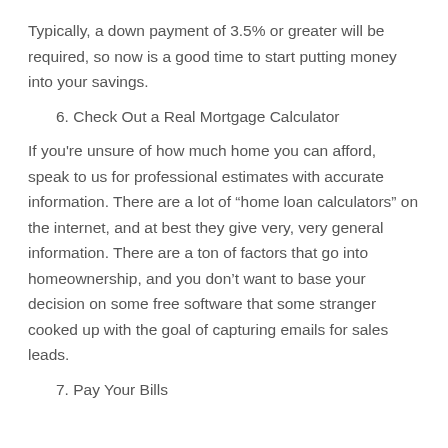Typically, a down payment of 3.5% or greater will be required, so now is a good time to start putting money into your savings.
6. Check Out a Real Mortgage Calculator
If you're unsure of how much home you can afford, speak to us for professional estimates with accurate information. There are a lot of “home loan calculators” on the internet, and at best they give very, very general information. There are a ton of factors that go into homeownership, and you don’t want to base your decision on some free software that some stranger cooked up with the goal of capturing emails for sales leads.
7. Pay Your Bills